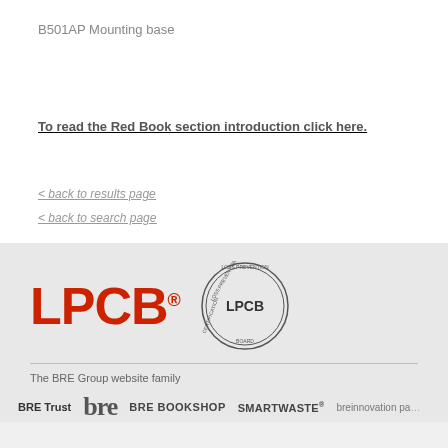B501AP Mounting base
To read the Red Book section introduction click here.
< back to results page
< back to search page
[Figure (logo): LPCB red text logo and LPCB circular stamp seal]
The BRE Group website family
BRE Trust  bre  BRE BOOKSHOP  SMARTWASTE  breinnovation pa...